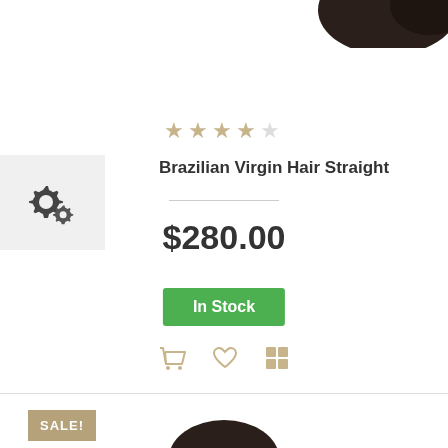[Figure (photo): Dark hair product image, top portion visible at top right]
[Figure (illustration): Gear/settings icon (two interlocking cogs) on light gray background, left side]
★★★★☆
Brazilian Virgin Hair Straight
$280.00
In Stock
[Figure (illustration): Action icons: shopping basket, heart/wishlist, grid/compare — all in tan/gold color]
[Figure (photo): Dark hair product image, top portion visible at bottom center]
SALE!